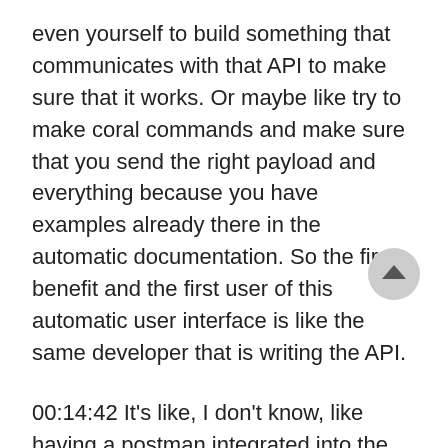even yourself to build something that communicates with that API to make sure that it works. Or maybe like try to make coral commands and make sure that you send the right payload and everything because you have examples already there in the automatic documentation. So the first benefit and the first user of this automatic user interface is like the same developer that is writing the API.
00:14:42 It's like, I don't know, like having a postman integrated into the API that already knows where all the possible endpoints and where are all the possible payloads and what is valid and whatnot just have it right there. Then the next kind of people that could benefit from it is other teams. For example, if you have a front end team that needs to